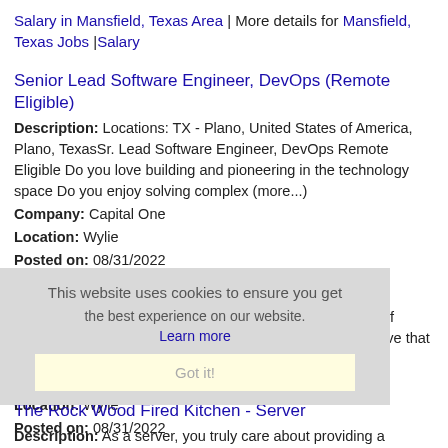Salary in Mansfield, Texas Area | More details for Mansfield, Texas Jobs |Salary
Senior Lead Software Engineer, DevOps (Remote Eligible)
Description: Locations: TX - Plano, United States of America, Plano, TexasSr. Lead Software Engineer, DevOps Remote Eligible Do you love building and pioneering in the technology space Do you enjoy solving complex (more...)
Company: Capital One
Location: Wylie
Posted on: 08/31/2022
Arby's - Assistant Manager
Description: Job brief: Arby's believes in the importance of flexibility for employers and employees alike, and we believe that our employees
Company: Seasoned
Location: Wylie
Posted on: 08/31/2022
The Rock Wood Fired Kitchen - Server
Description: As a server, you truly care about providing a memorable and hospitable experience.